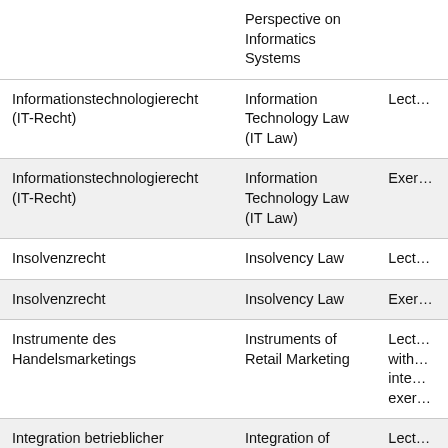| German Title | English Title | Type |
| --- | --- | --- |
|  | Perspective on Informatics Systems |  |
| Informationstechnologierecht (IT-Recht) | Information Technology Law (IT Law) | Lect… |
| Informationstechnologierecht (IT-Recht) | Information Technology Law (IT Law) | Exer… |
| Insolvenzrecht | Insolvency Law | Lect… |
| Insolvenzrecht | Insolvency Law | Exer… |
| Instrumente des Handelsmarketings | Instruments of Retail Marketing | Lect… with… inte… exer… |
| Integration betrieblicher | Integration of | Lect… |